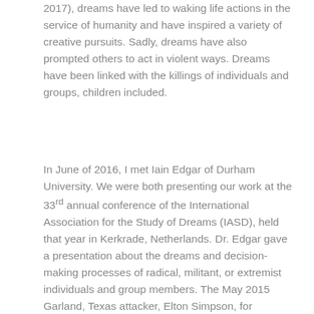2017), dreams have led to waking life actions in the service of humanity and have inspired a variety of creative pursuits. Sadly, dreams have also prompted others to act in violent ways. Dreams have been linked with the killings of individuals and groups, children included.
In June of 2016, I met Iain Edgar of Durham University. We were both presenting our work at the 33rd annual conference of the International Association for the Study of Dreams (IASD), held that year in Kerkrade, Netherlands. Dr. Edgar gave a presentation about the dreams and decision-making processes of radical, militant, or extremist individuals and group members. The May 2015 Garland, Texas attacker, Elton Simpson, for example, posted his dreams online, which indicated that